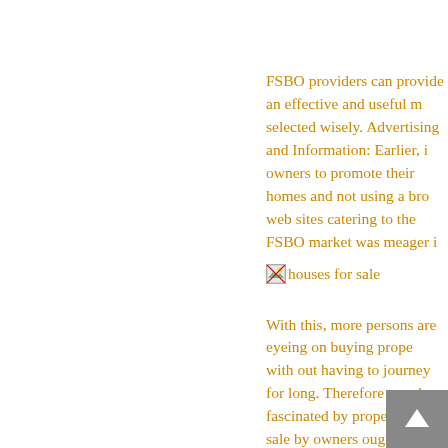FSBO providers can provide an effective and useful m… selected wisely. Advertising and Information: Earlier, i… owners to promote their homes and not using a bro… web sites catering to the FSBO market was meager i…
[Figure (photo): Small broken image icon labeled 'houses for sale']
With this, more persons are eyeing on buying prope… with out having to journey for long. Therefore peopl… fascinated by properties for sale by owners ought to… using a buyer's agent. Agents that present numerous… property patrons or sellers, are referred to as actual… Nevertheless, enlisting a dealer might also be helpfu… is relative to the worth of the house, dealer's for thei… promote the property at as high a value as attainable… contributors bid for goods and companies over the … involved are regulated by on-line public sale tools, t… setting public sale rules and permit buying and sel…